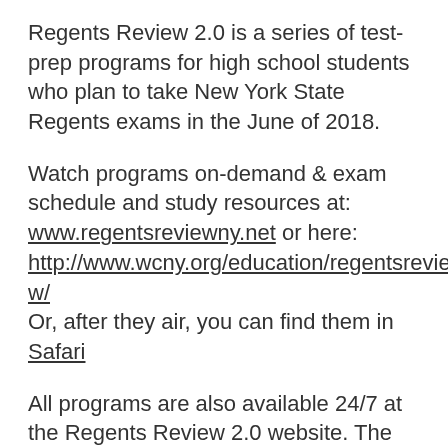Regents Review 2.0 is a series of test-prep programs for high school students who plan to take New York State Regents exams in the June of 2018.
Watch programs on-demand & exam schedule and study resources at: www.regentsreviewny.net or here: http://www.wcny.org/education/regentsreview/ Or, after they air, you can find them in Safari
All programs are also available 24/7 at the Regents Review 2.0 website. The website also features additional teacher-recommended online study resources, as well as extra video clips to help prepare students